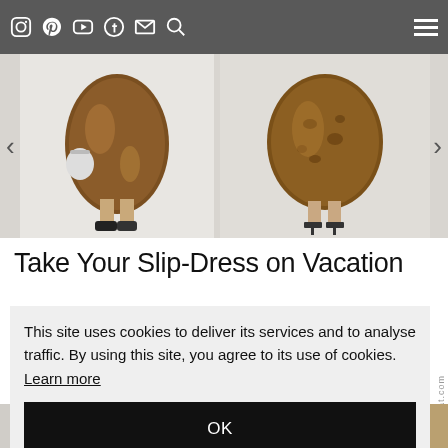Navigation bar with social media icons: Instagram, Pinterest, YouTube, Facebook, Email, Search, and hamburger menu
[Figure (photo): Fashion carousel showing two models wearing brown/bronze slip skirts. Left image: model's lower body with bronze sequin skirt and sneakers holding a white bag. Right image: model's lower body with bronze/leopard print skirt and heeled sandals.]
Take Your Slip-Dress on Vacation
This site uses cookies to deliver its services and to analyse traffic. By using this site, you agree to its use of cookies. Learn more
OK